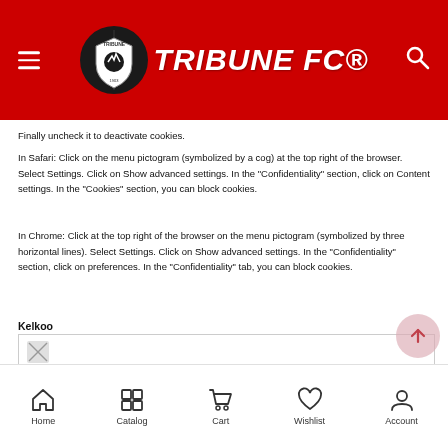TRIBUNE FC®
Finally uncheck it to deactivate cookies.
In Safari: Click on the menu pictogram (symbolized by a cog) at the top right of the browser. Select Settings. Click on Show advanced settings. In the "Confidentiality" section, click on Content settings. In the "Cookies" section, you can block cookies.
In Chrome: Click at the top right of the browser on the menu pictogram (symbolized by three horizontal lines). Select Settings. Click on Show advanced settings. In the "Confidentiality" section, click on preferences. In the "Confidentiality" tab, you can block cookies.
Kelkoo
[Figure (other): Broken image placeholder for Kelkoo section]
Home  Catalog  Cart  Wishlist  Account